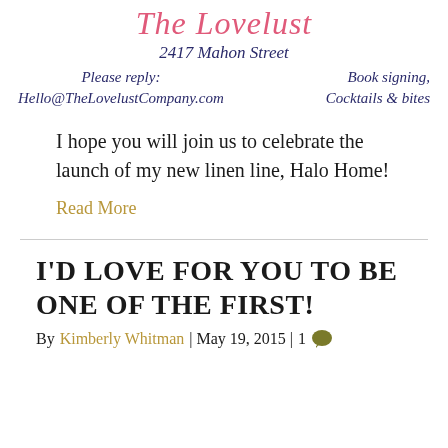[Figure (illustration): Decorative script logo reading 'The Lovelust' in pink cursive]
2417 Mahon Street
Please reply:
Hello@TheLovelustCompany.com
Book signing,
Cocktails & bites
I hope you will join us to celebrate the launch of my new linen line, Halo Home!
Read More
I'D LOVE FOR YOU TO BE ONE OF THE FIRST!
By Kimberly Whitman | May 19, 2015 | 1